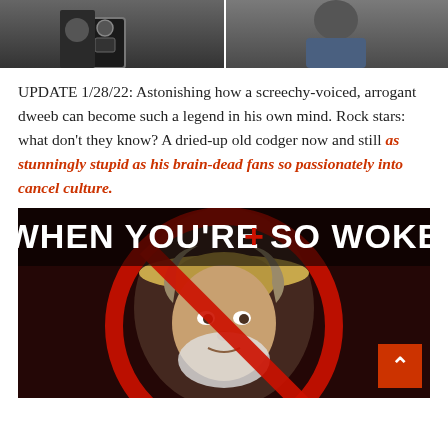[Figure (photo): Two side-by-side photos at the top of the page, showing people, one with a badge/uniform visible on the left side.]
UPDATE 1/28/22: Astonishing how a screechy-voiced, arrogant dweeb can become such a legend in his own mind. Rock stars: what don't they know? A dried-up old codger now and still as stunningly stupid as his brain-dead fans so passionately into cancel culture.
[Figure (photo): Meme image with black background and text reading 'WHEN YOU'RE SO WOKE' in large white and red font, with a person wearing a straw hat overlaid with a red prohibition circle-slash symbol.]